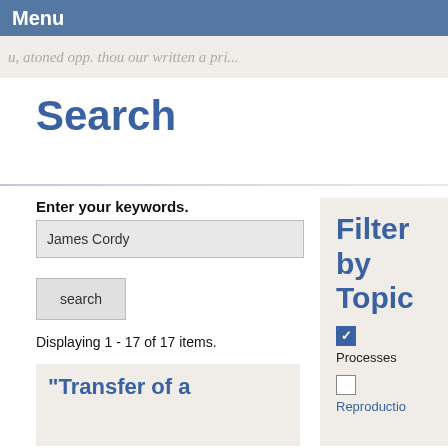Menu
[Figure (other): Handwritten script text in light gray/beige band reading partial text]
Search
Enter your keywords.
James Cordy
search
Displaying 1 - 17 of 17 items.
“Transfer of a
Filter by Topic
Processes
Reproductio